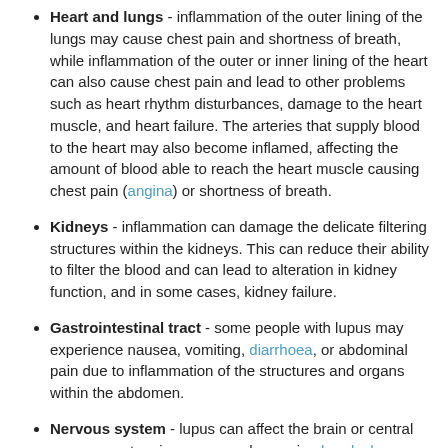Heart and lungs - inflammation of the outer lining of the lungs may cause chest pain and shortness of breath, while inflammation of the outer or inner lining of the heart can also cause chest pain and lead to other problems such as heart rhythm disturbances, damage to the heart muscle, and heart failure. The arteries that supply blood to the heart may also become inflamed, affecting the amount of blood able to reach the heart muscle causing chest pain (angina) or shortness of breath.
Kidneys - inflammation can damage the delicate filtering structures within the kidneys. This can reduce their ability to filter the blood and can lead to alteration in kidney function, and in some cases, kidney failure.
Gastrointestinal tract - some people with lupus may experience nausea, vomiting, diarrhoea, or abdominal pain due to inflammation of the structures and organs within the abdomen.
Nervous system - lupus can affect the brain or central nervous system in some people causing headaches, seizures, vision problems, and dizziness. Personality changes and depression can also occur.
(partial, cut off at bottom)